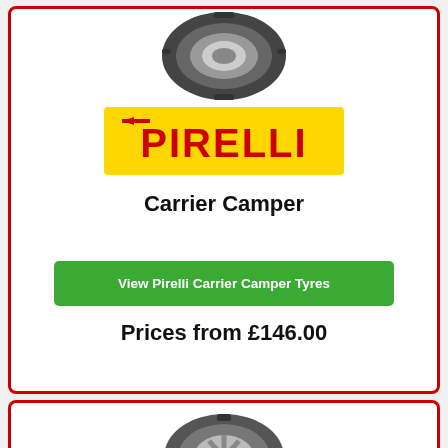[Figure (photo): Pirelli Carrier Camper tyre viewed from top angle, partial view at top of card]
[Figure (logo): Pirelli logo - yellow background with red PIRELLI text]
Carrier Camper
View Pirelli Carrier Camper Tyres
Prices from £146.00
[Figure (photo): Pirelli tyre viewed from front angle at bottom of page]